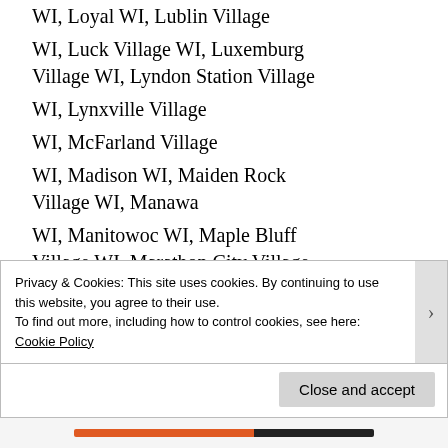WI, Loyal WI, Lublin Village
WI, Luck Village WI, Luxemburg Village WI, Lyndon Station Village
WI, Lynxville Village
WI, McFarland Village
WI, Madison WI, Maiden Rock Village WI, Manawa
WI, Manitowoc WI, Maple Bluff Village WI, Marathon City Village
WI, Maribel Village WI, Marinette
Privacy & Cookies: This site uses cookies. By continuing to use this website, you agree to their use.
To find out more, including how to control cookies, see here: Cookie Policy